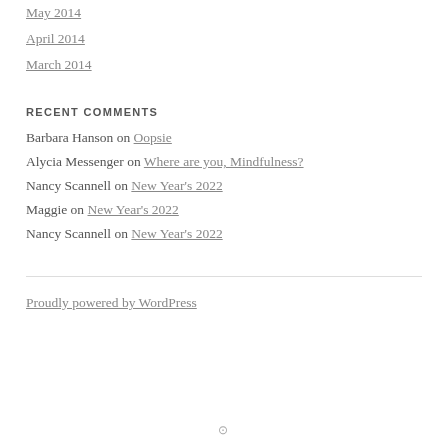May 2014
April 2014
March 2014
RECENT COMMENTS
Barbara Hanson on Oopsie
Alycia Messenger on Where are you, Mindfulness?
Nancy Scannell on New Year's 2022
Maggie on New Year's 2022
Nancy Scannell on New Year's 2022
Proudly powered by WordPress